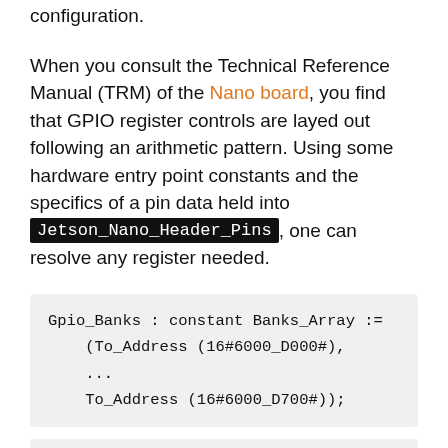table. This gives us the capability to model all pins configuration.
When you consult the Technical Reference Manual (TRM) of the Nano board, you find that GPIO register controls are layed out following an arithmetic pattern. Using some hardware entry point constants and the specifics of a pin data held into Jetson_Nano_Header_Pins, one can resolve any register needed.
Gpio_Banks : constant Banks_Array :=
    (To_Address (16#6000_D000#),
    ...
    To_Address (16#6000_D700#));
type Register is (GPIO_CNF, GPIO_OE, GPIO_OU
type Registers_Offsets_Array is array (Regis
Registers_Offsets : constant Registers_Offse